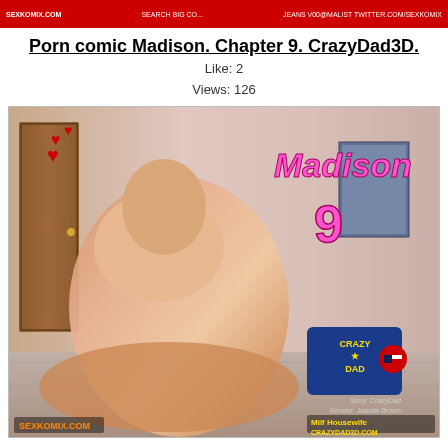SEXKOMIX.COM | SEARCH BIG CO... | JEANS V00@MALIST TWITTER.COM/SEXKOMIX
Porn comic Madison. Chapter 9. CrazyDad3D.
Like: 2
Views: 126
[Figure (illustration): 3D rendered comic book cover for Madison Chapter 9 by CrazyDad3D. Shows a 3D rendered blonde woman kneeling in a room. Text on image reads 'Madison 9'. CrazyDad logo visible. Watermarks: SEXKOMIX.COM bottom left, MILF Housewife / CRAZYDAD3D.COM bottom right. Story: CrazyDad, Render: Juanita Brown.]